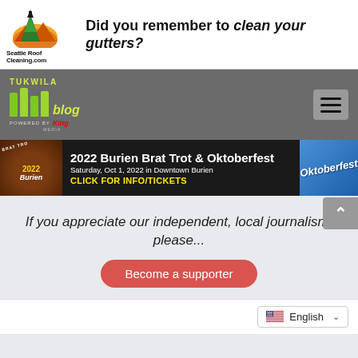[Figure (illustration): Seattle Roof Cleaning advertisement banner with tree logo and tagline 'Did you remember to clean your gutters?' with seattleroofcleaning.com website]
[Figure (logo): Tukwila Blog logo powered by King Media, with navigation hamburger menu on gray background]
[Figure (illustration): 2022 Burien Brat Trot & Oktoberfest banner advertisement - Saturday, Oct 1, 2022 in Downtown Burien - CLICK FOR INFO/TICKETS]
If you appreciate our independent, local journalism, please...
Become a supporter
English